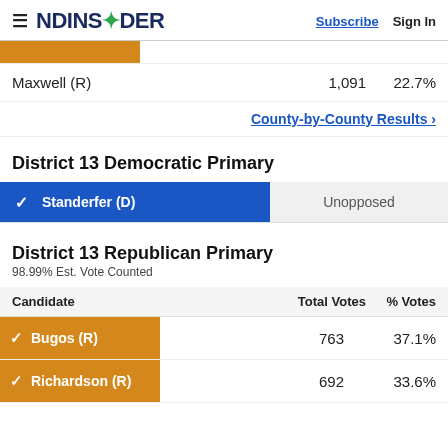NDINSiDER | Subscribe | Sign In
| Candidate | Total Votes | % Votes |
| --- | --- | --- |
| Maxwell (R) | 1,091 | 22.7% |
County-by-County Results ›
District 13 Democratic Primary
✓ Standerfer (D)  Unopposed
District 13 Republican Primary
98.99% Est. Vote Counted
| Candidate | Total Votes | % Votes |
| --- | --- | --- |
| Bugos (R) | 763 | 37.1% |
| Richardson (R) | 692 | 33.6% |